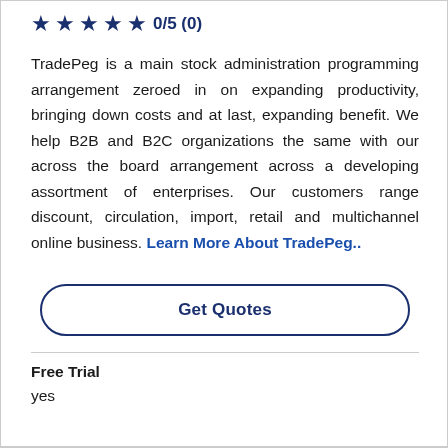★★★★★ 0/5 (0)
TradePeg is a main stock administration programming arrangement zeroed in on expanding productivity, bringing down costs and at last, expanding benefit. We help B2B and B2C organizations the same with our across the board arrangement across a developing assortment of enterprises. Our customers range discount, circulation, import, retail and multichannel online business. Learn More About TradePeg..
Get Quotes
Free Trial
yes